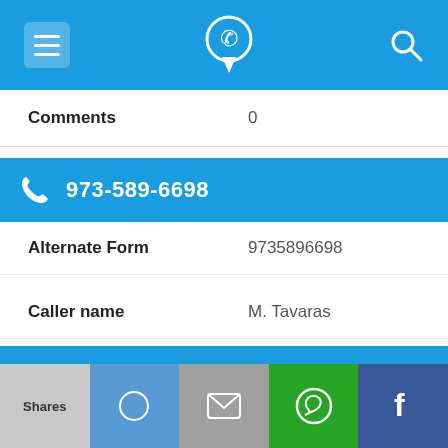App navigation bar with menu, phone/location icon, and search icon
Comments   0
973-589-6698
Alternate Form   9735896698
Caller name   M. Tavaras
Last User Search   No searches yet
Comments   0
Shares | email | WhatsApp | Facebook